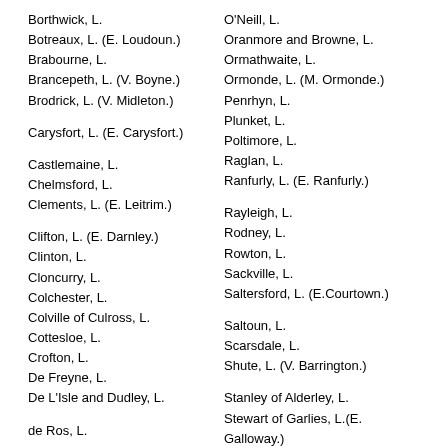Borthwick, L.
Botreaux, L. (E. Loudoun.)
Brabourne, L.
Brancepeth, L. (V. Boyne.)
Brodrick, L. (V. Midleton.)
Carysfort, L. (E. Carysfort.)
Castlemaine, L.
Chelmsford, L.
Clements, L. (E. Leitrim.)
Clifton, L. (E. Darnley.)
Clinton, L.
Cloncurry, L.
Colchester, L.
Colville of Culross, L.
Cottesloe, L.
Crofton, L.
De Freyne, L.
De L'Isle and Dudley, L.
de Ros, L.
O'Neill, L.
Oranmore and Browne, L.
Ormathwaite, L.
Ormonde, L. (M. Ormonde.)
Penrhyn, L.
Plunket, L.
Poltimore, L.
Raglan, L.
Ranfurly, L. (E. Ranfurly.)
Rayleigh, L.
Rodney, L.
Rowton, L.
Sackville, L.
Saltersford, L. (E.Courtown.)
Saltoun, L.
Scarsdale, L.
Shute, L. (V. Barrington.)
Stanley of Alderley, L.
Stewart of Garlies, L.(E. Galloway.)